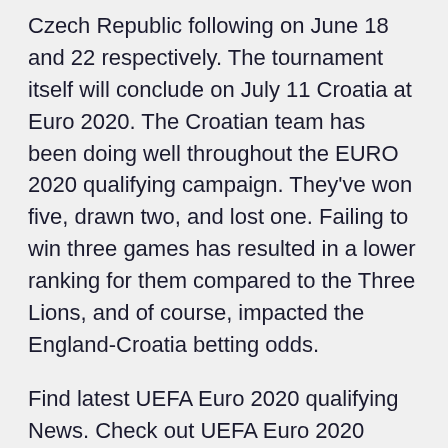Czech Republic following on June 18 and 22 respectively. The tournament itself will conclude on July 11 Croatia at Euro 2020. The Croatian team has been doing well throughout the EURO 2020 qualifying campaign. They've won five, drawn two, and lost one. Failing to win three games has resulted in a lower ranking for them compared to the Three Lions, and of course, impacted the England-Croatia betting odds.
Find latest UEFA Euro 2020 qualifying News. Check out UEFA Euro 2020 qualifying results and fixtures. Watch UEFA Euro 2020 qualifying videos and highlights on beIN SPORTS MENA Breaking News A full list of all the Euro 2020 group stages matches, and where you can watch them is below: Friday June 11th. Group A. Turkey vs Italy, Stadio Olimpico, Rome, 8pm, RTE, BBC. Caglar